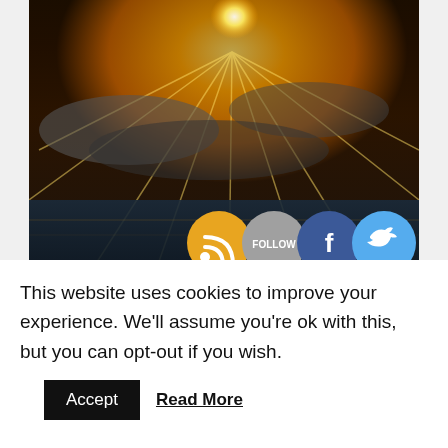[Figure (photo): Aerial/landscape photo with golden sunburst rays over clouds or water with social media icons (RSS, Follow, Facebook, Twitter) overlaid at bottom]
Episode 4| Ho’oponopono Helps Heal a Devastating Loss and Brings Protection
Special Guests: Chrissy and Coach Stephanie
This website uses cookies to improve your experience. We’ll assume you’re ok with this, but you can opt-out if you wish.
Accept  Read More